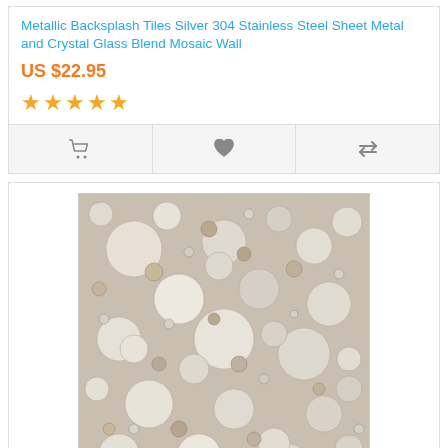Metallic Backsplash Tiles Silver 304 Stainless Steel Sheet Metal and Crystal Glass Blend Mosaic Wall
US $22.95
[Figure (other): Five gold star rating icons]
[Figure (photo): Close-up photo of white and beige circular mosaic tiles with shell-like textures arranged densely together]
White Mosaic Tile Design Stone Round Tile Pebble...